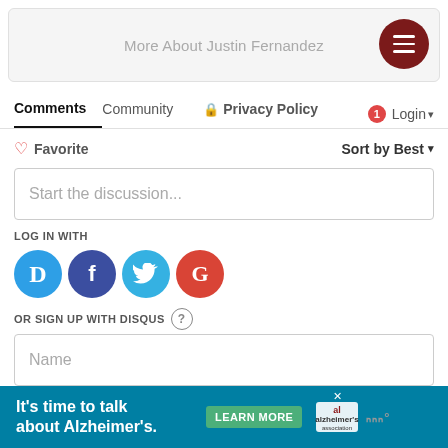More About Justin Fernandez
Comments  Community  Privacy Policy  Login
Favorite  Sort by Best
Start the discussion...
LOG IN WITH
[Figure (infographic): Social login icons: Disqus (D, blue circle), Facebook (f, dark blue circle), Twitter (bird, light blue circle), Google (G, red circle)]
OR SIGN UP WITH DISQUS ?
Name
[Figure (infographic): Advertisement banner: teal background, text 'It's time to talk about Alzheimer's.' with a green LEARN MORE button, Alzheimer's Association logo, and a gray logo on the right]